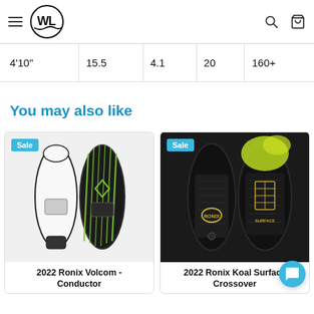WL logo, hamburger menu, search and cart icons
| 4'10" | 15.5 | 4.1 | 20 | 160+ |
You may also like
[Figure (photo): 2022 Ronix Volcom - Conductor wakesurf board shown from front and back, with 'Sale' badge]
2022 Ronix Volcom - Conductor
[Figure (photo): 2022 Ronix Koal Surface Crossover wakesurf board shown from front and back, black and yellow, with 'Sale' badge]
2022 Ronix Koal Surface Crossover